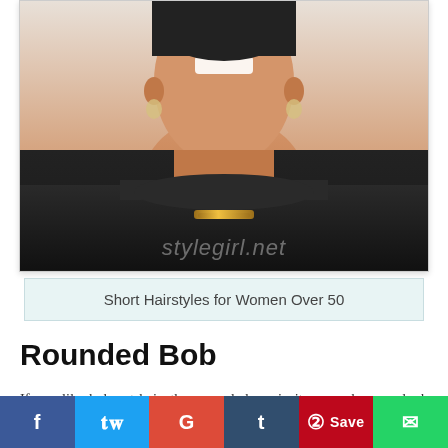[Figure (photo): Woman with short hair wearing black top and gold necklace at an event, smiling, watermark reads stylegirl.net]
Short Hairstyles for Women Over 50
Rounded Bob
If you like bob cut hair, then round shape in it can make your look more attractive. The round shape bob cut hair can make your face more proper in shape. The side-
f  t  G  t  Save